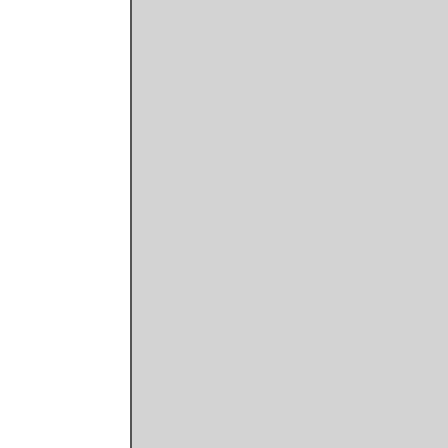[Figure (other): Large gray rectangular panel/image on the left side of the page, bordered by thin vertical lines]
Simple: recall that it was China's prevented the world from collaps any slowdown in China's credit g world right back into the deferred
And here, courtesy of Macquarie Caught My Eye"
Rising leverage levels (w growth rates, economies
Although not perfect ther different (both in term o also differs; nevertheless lower (and declining) velo
Fig